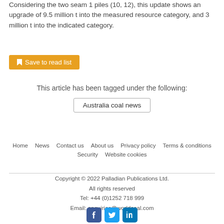Considering the two seam 1 piles (10, 12), this update shows an upgrade of 9.5 million t into the measured resource category, and 3 million t into the indicated category.
Save to read list
This article has been tagged under the following:
Australia coal news
Home   News   Contact us   About us   Privacy policy   Terms & conditions   Security   Website cookies
Copyright © 2022 Palladian Publications Ltd. All rights reserved Tel: +44 (0)1252 718 999 Email: enquiries@worldcoal.com